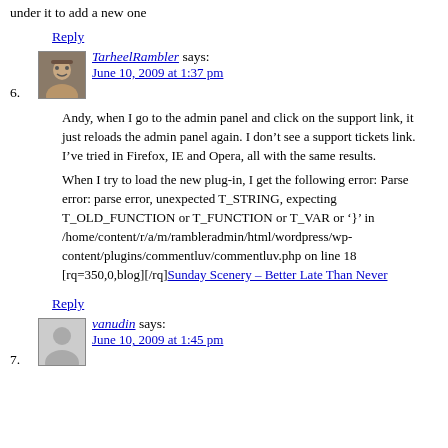under it to add a new one
Reply
TarheelRambler says:
June 10, 2009 at 1:37 pm
Andy, when I go to the admin panel and click on the support link, it just reloads the admin panel again. I don’t see a support tickets link. I’ve tried in Firefox, IE and Opera, all with the same results.
When I try to load the new plug-in, I get the following error: Parse error: parse error, unexpected T_STRING, expecting T_OLD_FUNCTION or T_FUNCTION or T_VAR or ‘}’ in /home/content/r/a/m/rambleradmin/html/wordpress/wp-content/plugins/commentluv/commentluv.php on line 18 [rq=350,0,blog][/rq]Sunday Scenery – Better Late Than Never
Reply
vanudin says:
June 10, 2009 at 1:45 pm